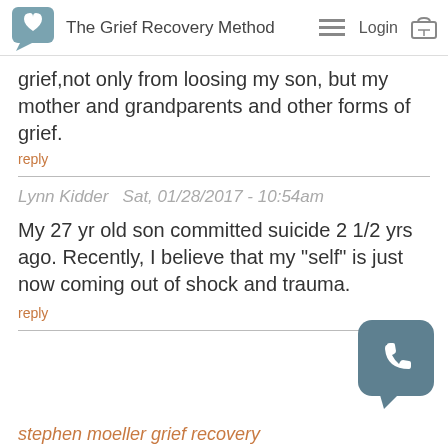The Grief Recovery Method
grief,not only from loosing my son, but my mother and grandparents and other forms of grief.
reply
Lynn Kidder  Sat, 01/28/2017 - 10:54am
My 27 yr old son committed suicide 2 1/2 yrs ago. Recently, I believe that my "self" is just now coming out of shock and trauma.
reply
stephen moeller grief recovery